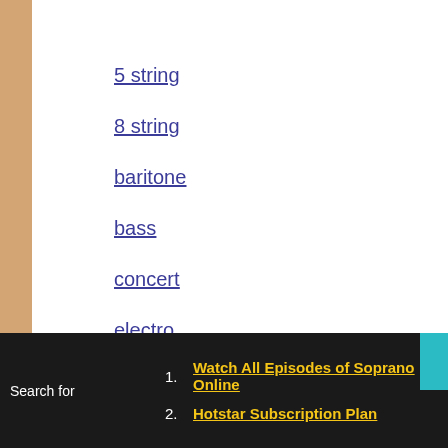th
5 string
8 string
baritone
bass
concert
electro
piccolo
sopranino
soprano
tenor
Search for
1. Watch All Episodes of Soprano Online
2. Hotstar Subscription Plan